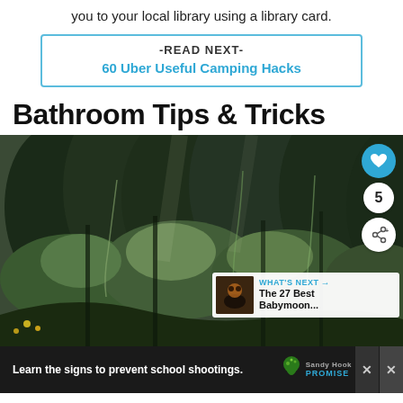you to your local library using a library card.
-READ NEXT-
60 Uber Useful Camping Hacks
Bathroom Tips & Tricks
[Figure (photo): Forest/woodland scene with trees, green vegetation on a hillside, with social sharing buttons (heart icon, count of 5, share icon) on the right side, and a 'What's Next' overlay showing 'The 27 Best Babymoon...']
Learn the signs to prevent school shootings. Sandy Hook PROMISE